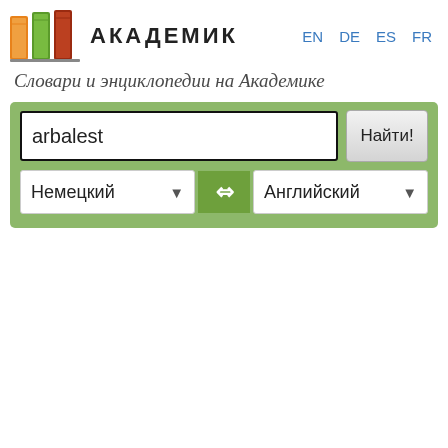[Figure (logo): Three colorful book spines (orange, green, dark red) forming the Akademik logo]
АКАДЕМИК
EN  DE  ES  FR
Словари и энциклопедии на Академике
[Figure (screenshot): Search interface with text input containing 'arbalest', a 'Найти!' button, and two language dropdowns: 'Немецкий' and 'Английский' with a swap arrows button between them]